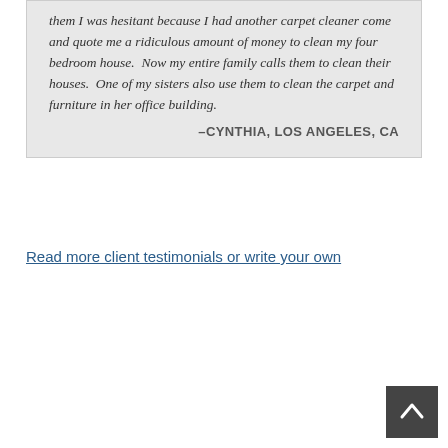them I was hesitant because I had another carpet cleaner come and quote me a ridiculous amount of money to clean my four bedroom house.  Now my entire family calls them to clean their houses.  One of my sisters also use them to clean the carpet and furniture in her office building.
–CYNTHIA, LOS ANGELES, CA
Read more client testimonials or write your own